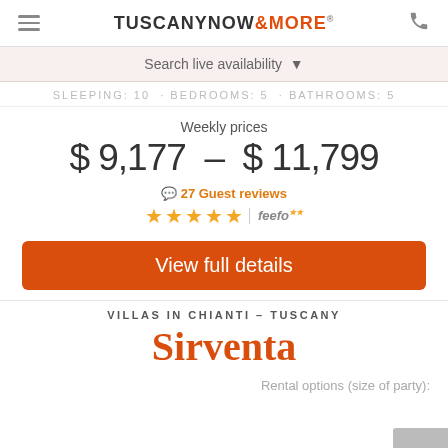TUSCANY NOW & MORE®
Search live availability
SLEEPING: 10  BEDROOMS: 5  BATHROOMS: 5
Weekly prices
$ 9,177 - $ 11,799
27 Guest reviews
View full details
VILLAS IN CHIANTI – TUSCANY
Sirventa
Rental options (size of party):